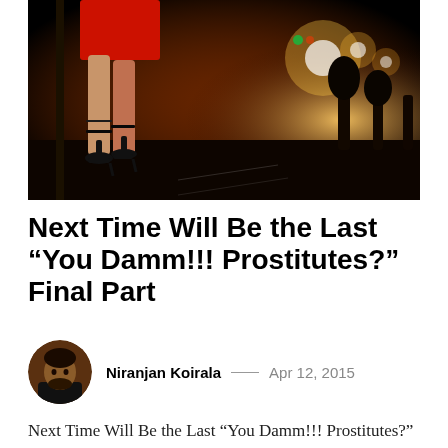[Figure (photo): Night street scene photo showing a woman in a red dress and black high heels standing by a pole, with blurred city lights in the background.]
Next Time Will Be the Last “You Damm!!! Prostitutes?” Final Part
Niranjan Koirala — Apr 12, 2015
Next Time Will Be the Last “You Damm!!! Prostitutes?” Part III “The economic system that pays women lower